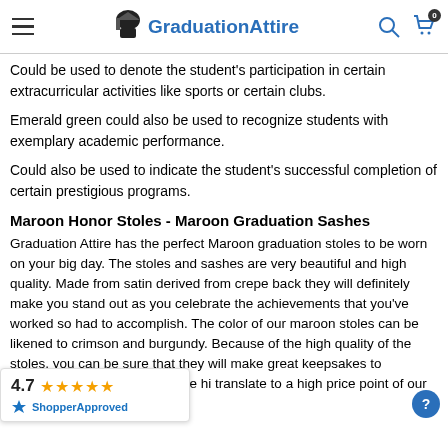GraduationAttire
Could be used to denote the student's participation in certain extracurricular activities like sports or certain clubs.
Emerald green could also be used to recognize students with exemplary academic performance.
Could also be used to indicate the student's successful completion of certain prestigious programs.
Maroon Honor Stoles - Maroon Graduation Sashes
Graduation Attire has the perfect Maroon graduation stoles to be worn on your big day. The stoles and sashes are very beautiful and high quality. Made from satin derived from crepe back they will definitely make you stand out as you celebrate the achievements that you've worked so had to accomplish. The color of our maroon stoles can be likened to crimson and burgundy. Because of the high quality of the stoles, you can be sure that they will make great keepsakes to remember this special day. The high quality does not translate to a high price point of our